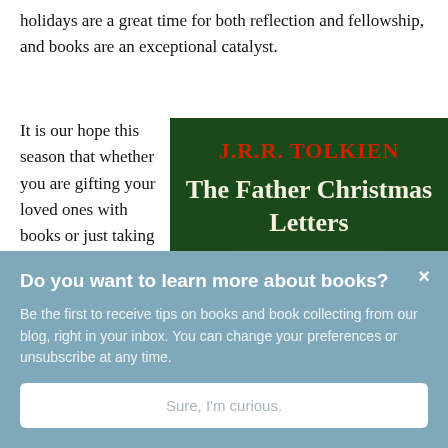holidays are a great time for both reflection and fellowship, and books are an exceptional catalyst.
It is our hope this season that whether you are gifting your loved ones with books or just taking time to read some seasonal
[Figure (photo): Book cover of 'The Father Christmas Letters' by J.R.R. Tolkien, dark green background with red author name and cream/white title text]
Do you want to learn more about books?
Be the first to receive tips on books and book collecting from our blog, right in your inbox. You can change your preferences or unsubscribe at any time.
Sure, I'm curious.